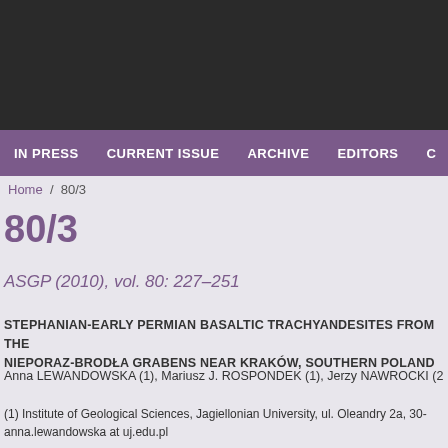IN PRESS   CURRENT ISSUE   ARCHIVE   EDITORS
Home / 80/3
80/3
ASGP (2010), vol. 80: 227–251
STEPHANIAN-EARLY PERMIAN BASALTIC TRACHYANDESITES FROM THE NIEPORAZ-BRODŁA GRABENS NEAR KRAKÓW, SOUTHERN POLAND
Anna LEWANDOWSKA (1), Mariusz J. ROSPONDEK (1), Jerzy NAWROCKI (2
(1) Institute of Geological Sciences, Jagiellonian University, ul. Oleandry 2a, 30-
anna.lewandowska at uj.edu.pl